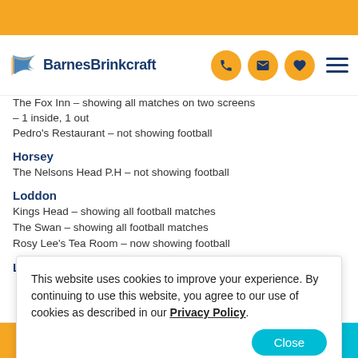BarnesBrinkcraft
– 1 inside, 1 out
Pedro's Restaurant – not showing football
Horsey
The Nelsons Head P.H – not showing football
Loddon
Kings Head – showing all football matches
The Swan – showing all football matches
Rosy Lee's Tea Room – now showing football
Ludham
This website uses cookies to improve your experience. By continuing to use this website, you agree to our use of cookies as described in our Privacy Policy.
Find My Holiday   Contact Us